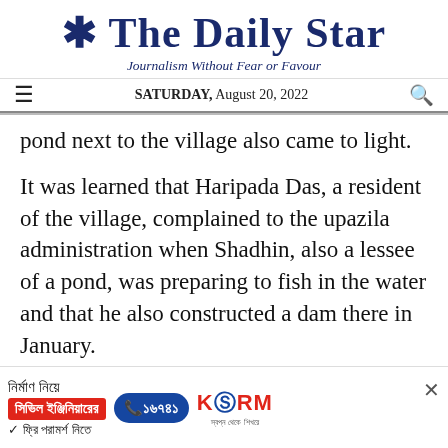The Daily Star
Journalism Without Fear or Favour
SATURDAY, August 20, 2022
pond next to the village also came to light.
It was learned that Haripada Das, a resident of the village, complained to the upazila administration when Shadhin, also a lessee of a pond, was preparing to fish in the water and that he also constructed a dam there in January.
However, Lima Akhter, Shadhin's niece denied this. She said "...
[Figure (infographic): Advertisement banner for KSRM civil engineering consultation service with Bengali text, phone number 16749, and KSRM logo]